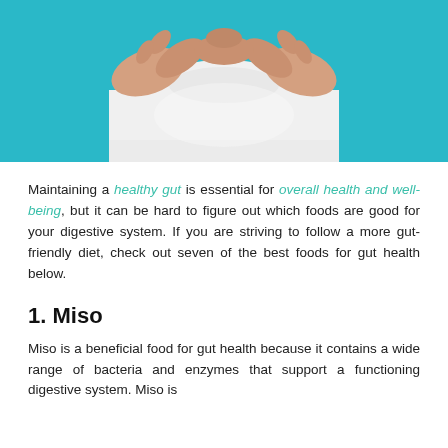[Figure (photo): Person in white top with hands forming a heart shape over stomach area, against a blue background]
Maintaining a healthy gut is essential for overall health and well-being, but it can be hard to figure out which foods are good for your digestive system. If you are striving to follow a more gut-friendly diet, check out seven of the best foods for gut health below.
1. Miso
Miso is a beneficial food for gut health because it contains a wide range of bacteria and enzymes that support a functioning digestive system. Miso is made from fermented soybeans and comes in a